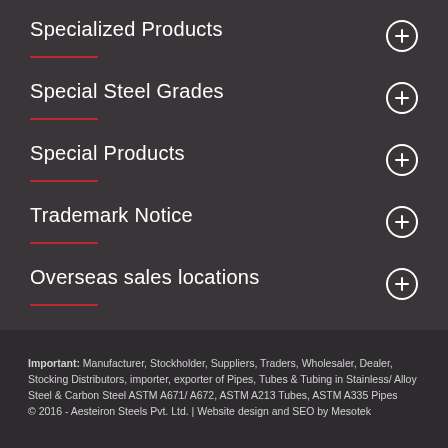Specialized Products
Special Steel Grades
Special Products
Trademark Notice
Overseas sales locations
Important: Manufacturer, Stockholder, Suppliers, Traders, Wholesaler, Dealer, Stocking Distributors, importer, exporter of Pipes, Tubes & Tubing in Stainless/ Alloy Steel & Carbon Steel ASTM A671/ A672, ASTM A213 Tubes, ASTM A335 Pipes © 2016 - Aesteiron Steels Pvt. Ltd. | Website design and SEO by Mesotek